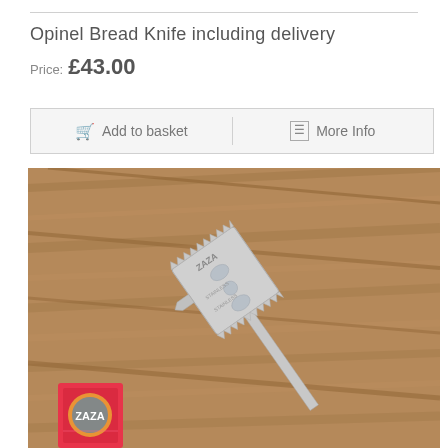Opinel Bread Knife including delivery
Price: £43.00
[Figure (other): Two buttons: 'Add to basket' with cart icon and 'More Info' with document icon, separated by a vertical divider, on a light grey background bar]
[Figure (photo): A ZAZA stainless steel double-edge razor blade lying diagonally on a wooden surface, with a small pink ZAZA razor blade box visible at the bottom left corner]